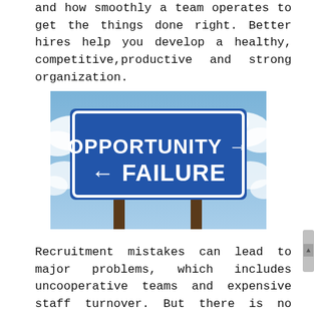and how smoothly a team operates to get the things done right. Better hires help you develop a healthy, competitive,productive and strong organization.
[Figure (photo): A road sign against a cloudy blue sky with two directional arrows: 'OPPORTUNITY →' pointing right and '← FAILURE' pointing left, mounted on brown wooden posts.]
Recruitment mistakes can lead to major problems, which includes uncooperative teams and expensive staff turnover. But there is no guaranteed process for